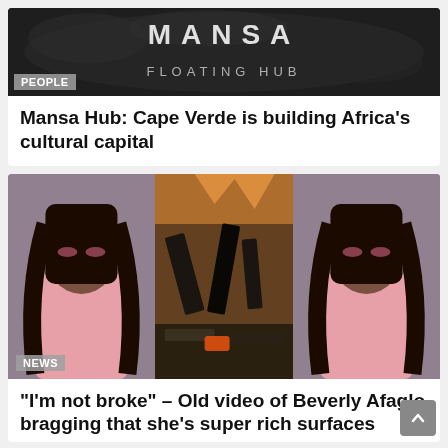[Figure (photo): Dark textured background with 'MANSA' text at top and 'FLOATING HUB' subtitle below, labeled 'PEOPLE' tag overlay]
Mansa Hub: Cape Verde is building Africa’s cultural capital
[Figure (photo): Composite image: woman in pink dress with long braids on left, fire/ruins in center, same woman repeated on right, with 'NEWS' label overlay]
“I’m not broke” – Old video of Beverly Afaglo bragging that she’s super rich surfaces